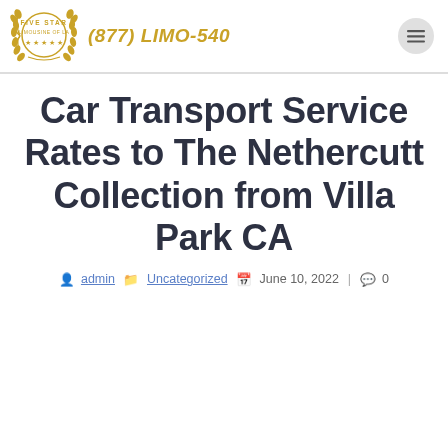Five Star Limousine of LA | (877) LIMO-540
Car Transport Service Rates to The Nethercutt Collection from Villa Park CA
admin | Uncategorized | June 10, 2022 | 0